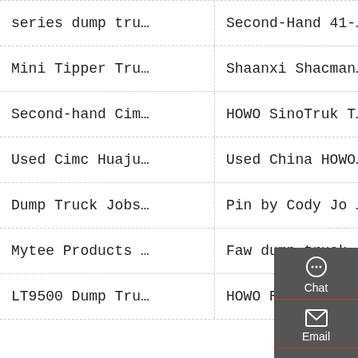series dump tru…
Second-Hand 41-…
Mini Tipper Tru…
Shaanxi Shacman…
Second-hand Cim…
HOWO SinoTruk T…
Used Cimc Huaju…
Used China HOWO…
Dump Truck Jobs…
Pin by Cody Jo …
Mytee Products …
Faw dump truck …
LT9500 Dump Tru…
HOWO Right Hand…